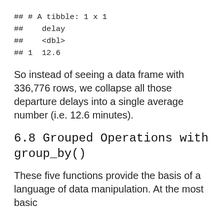## # A tibble: 1 x 1
##    delay
##    <dbl>
## 1  12.6
So instead of seeing a data frame with 336,776 rows, we collapse all those departure delays into a single average number (i.e. 12.6 minutes).
6.8 Grouped Operations with group_by()
These five functions provide the basis of a language of data manipulation. At the most basic